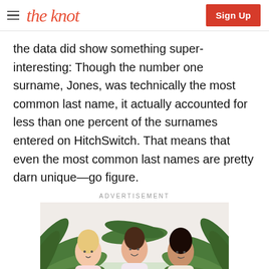the knot | Sign Up
the data did show something super-interesting: Though the number one surname, Jones, was technically the most common last name, it actually accounted for less than one percent of the surnames entered on HitchSwitch. That means that even the most common last names are pretty darn unique—go figure.
ADVERTISEMENT
[Figure (photo): Three women posing together in front of tropical palm plants, smiling and blowing kisses. They are dressed in floral/light outfits. There are flowers and a table setting visible.]